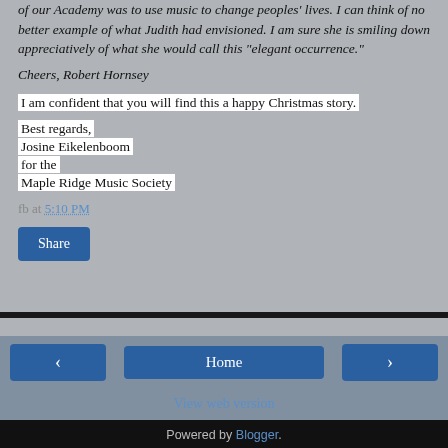of our Academy was to use music to change peoples' lives. I can think of no better example of what Judith had envisioned. I am sure she is smiling down appreciatively of what she would call this "elegant occurrence."
Cheers, Robert Hornsey
I am confident that you will find this a happy Christmas story.
Best regards,
Josine Eikelenboom
for the
Maple Ridge Music Society
fb at 5:10 PM
Share
Home
View web version
Powered by Blogger.